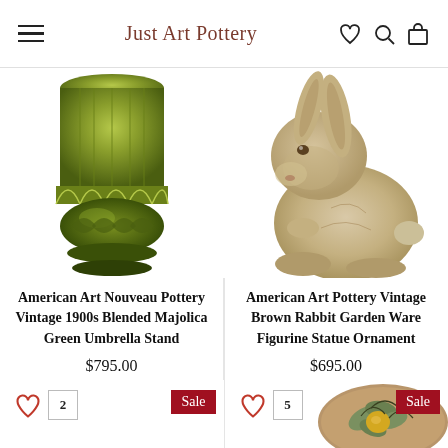Just Art Pottery
[Figure (photo): Bottom portion of an American Art Nouveau green majolica pottery umbrella stand, showing decorative green glaze and embossed floral base design]
American Art Nouveau Pottery Vintage 1900s Blended Majolica Green Umbrella Stand
$795.00
[Figure (photo): American Art Pottery vintage brown rabbit garden ware figurine/statue ornament, seated pose, matte tan glaze]
American Art Pottery Vintage Brown Rabbit Garden Ware Figurine Statue Ornament
$695.00
[Figure (photo): Partial bottom row showing two product tiles with heart/wishlist icons, count badges (2 and 5), Sale badges, and a partial view of a decorative pottery piece with leaf/fruit motif]
2
Sale
5
Sale